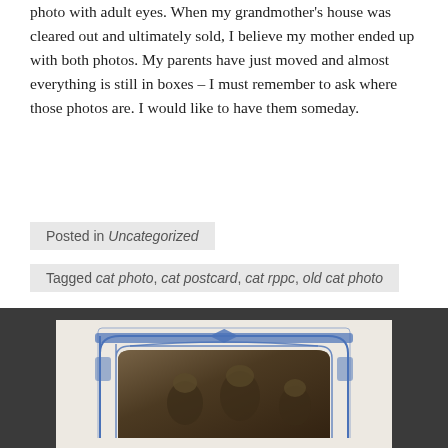photo with adult eyes. When my grandmother's house was cleared out and ultimately sold, I believe my mother ended up with both photos. My parents have just moved and almost everything is still in boxes – I must remember to ask where those photos are. I would like to have them someday.
Posted in Uncategorized
Tagged cat photo, cat postcard, cat rppc, old cat photo
[Figure (photo): An old antique postcard or real photo postcard (RPPC) displayed on a dark grey surface. The card has a white border with a decorative blue Art Nouveau-style arch/frame printed on it. Inside the arch is a sepia-toned photograph showing figures, likely cats or people with cats, dressed in costume.]